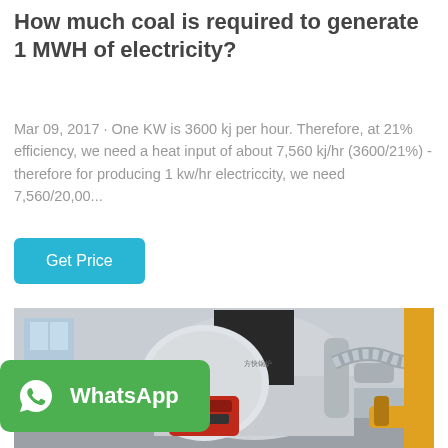How much coal is required to generate 1 MWH of electricity?
Mar 09, 2017 · One KW is 3600 kj per hour. Therefore, at 21% efficiency, we need a heat input of about 7,560 kj/hr (3600/21%) - therefore for producing 1 kw/hr electriccity, we need 7,560/20,00...
[Figure (photo): Industrial boiler or steam generator in a factory setting, with a large cylindrical silver tank, red burner unit, silver pipe fittings, and yellow industrial gas pipes visible.]
[Figure (logo): WhatsApp badge with green background, WhatsApp phone icon and bold white text reading WhatsApp]